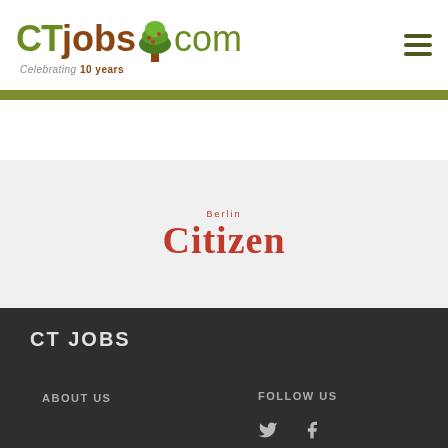[Figure (logo): CTjobs.com logo with tree icon and tagline 'Celebrating 10 years']
[Figure (logo): Berlin Citizen logo in red serif font]
CT JOBS
ABOUT US
FOLLOW US